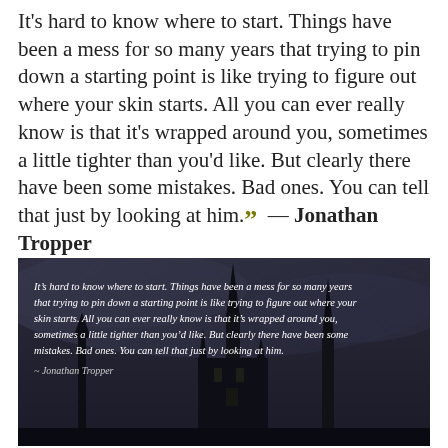It's hard to know where to start. Things have been a mess for so many years that trying to pin down a starting point is like trying to figure out where your skin starts. All you can ever really know is that it's wrapped around you, sometimes a little tighter than you'd like. But clearly there have been some mistakes. Bad ones. You can tell that just by looking at him." — Jonathan Tropper
[Figure (photo): Dark atmospheric photo of a Gothic cathedral/church silhouette against a stormy sky, with the quote text overlaid in white italic font and attribution to Jonathan Tropper at the bottom left.]